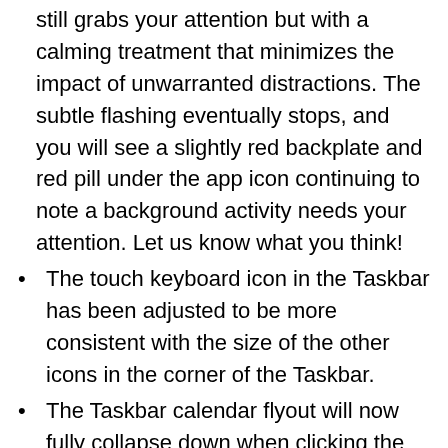still grabs your attention but with a calming treatment that minimizes the impact of unwarranted distractions. The subtle flashing eventually stops, and you will see a slightly red backplate and red pill under the app icon continuing to note a background activity needs your attention. Let us know what you think!
The touch keyboard icon in the Taskbar has been adjusted to be more consistent with the size of the other icons in the corner of the Taskbar.
The Taskbar calendar flyout will now fully collapse down when clicking the chevron in the top corner to give you more room for notifications.